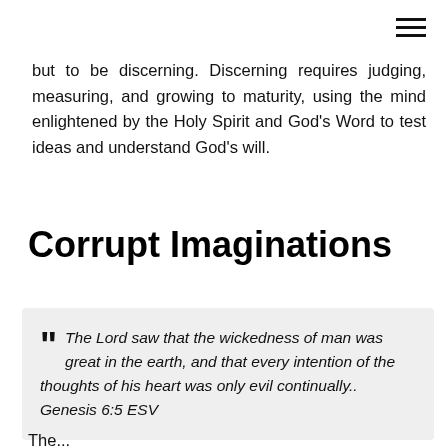≡
but to be discerning. Discerning requires judging, measuring, and growing to maturity, using the mind enlightened by the Holy Spirit and God's Word to test ideas and understand God's will.
Corrupt Imaginations
" The Lord saw that the wickedness of man was great in the earth, and that every intention of the thoughts of his heart was only evil continually.. Genesis 6:5 ESV
The...